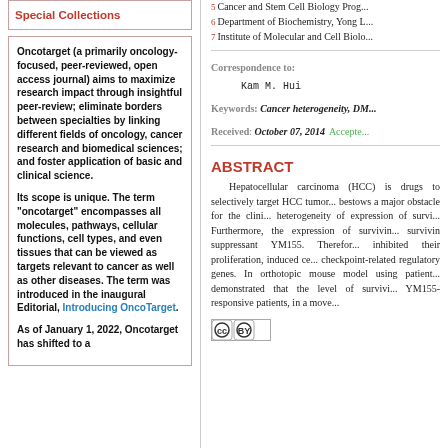Special Collections
Oncotarget (a primarily oncology-focused, peer-reviewed, open access journal) aims to maximize research impact through insightful peer-review; eliminate borders between specialties by linking different fields of oncology, cancer research and biomedical sciences; and foster application of basic and clinical science.

Its scope is unique. The term "oncotarget" encompasses all molecules, pathways, cellular functions, cell types, and even tissues that can be viewed as targets relevant to cancer as well as other diseases. The term was introduced in the inaugural Editorial, Introducing OncoTarget.

As of January 1, 2022, Oncotarget has shifted to a
5 Cancer and Stem Cell Biology Prog...
6 Department of Biochemistry, Yong L...
7 Institute of Molecular and Cell Biolo...
Correspondence to: Kam M. Hui
Keywords: Cancer heterogeneity, DM...
Received: October 07, 2014  Accepted...
ABSTRACT
Hepatocellular carcinoma (HCC) is... drugs to selectively target HCC tumor... bestows a major obstacle for the clini... heterogeneity of expression of survi... Furthermore, the expression of survivin... survivin suppressant YM155. Therefore... inhibited their proliferation, induced ce... checkpoint-related regulatory genes. In... orthotopic mouse model using patient... demonstrated that the level of survivi... YM155-responsive patients, in a move...
[Figure (logo): Creative Commons CC BY license icon]